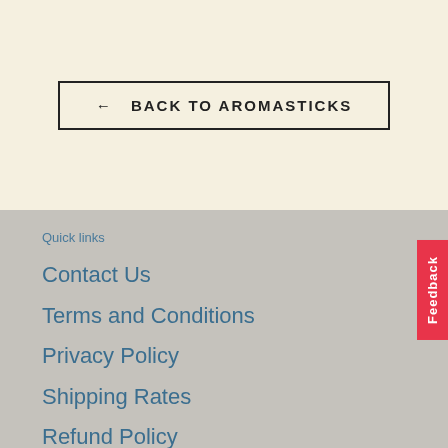← BACK TO AROMASTICKS
Quick links
Contact Us
Terms and Conditions
Privacy Policy
Shipping Rates
Refund Policy